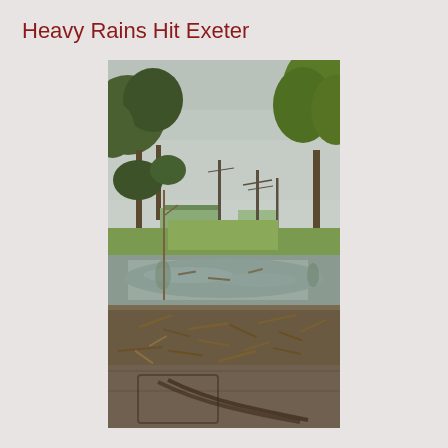Heavy Rains Hit Exeter
[Figure (photo): Outdoor scene showing flooding in Exeter. A flooded street or park area with standing water, debris and mud scattered across the ground. Green-leaved trees visible on left and right sides. A building and utility poles visible in the background under an overcast gray sky.]